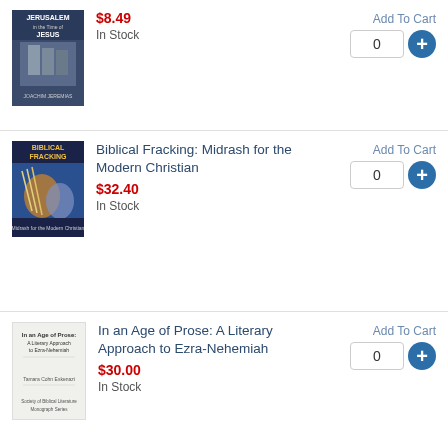[Figure (photo): Book cover for Jerusalem in the Time of Jesus by Joachim Jeremias]
$8.49
In Stock
Add To Cart
0
[Figure (photo): Book cover for Biblical Fracking: Midrash for the Modern Christian]
Biblical Fracking: Midrash for the Modern Christian
$32.40
In Stock
Add To Cart
0
[Figure (photo): Book cover for In an Age of Prose: A Literary Approach to Ezra-Nehemiah]
In an Age of Prose: A Literary Approach to Ezra-Nehemiah
$30.00
In Stock
Add To Cart
0